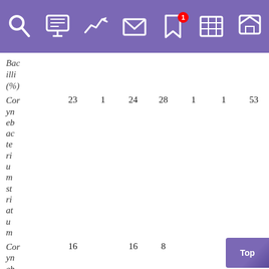[Figure (screenshot): Purple navigation bar with icons: search, monitor/display, line chart, envelope/mail, bookmark with badge '1', grid/table, home]
| Bacilli (%) |  |  |  |  |  |  |  |
| --- | --- | --- | --- | --- | --- | --- | --- |
| Corynebacterium striatum | 23 | 1 | 24 | 28 | 1 | 1 | 53 |
| Corynebacterium (partial) | 16 |  | 16 | 8 |  |  | 2 |